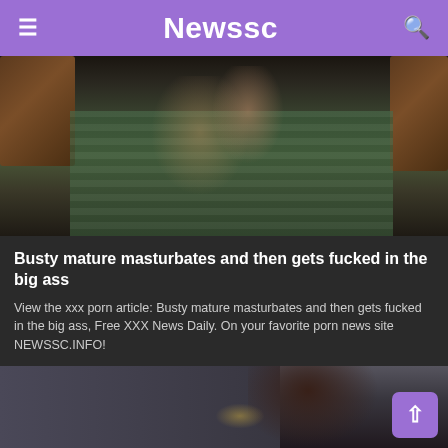Newssc
[Figure (photo): Photo of a person on a bed with green plaid bedding, wooden furniture visible on sides]
Busty mature masturbates and then gets fucked in the big ass
View the xxx porn article: Busty mature masturbates and then gets fucked in the big ass, Free XXX News Daily. On your favorite porn news site NEWSSC.INFO!
0 Views · Likes 0
[Figure (photo): Partial photo of a woman in dark clothing holding money, dark blue background]